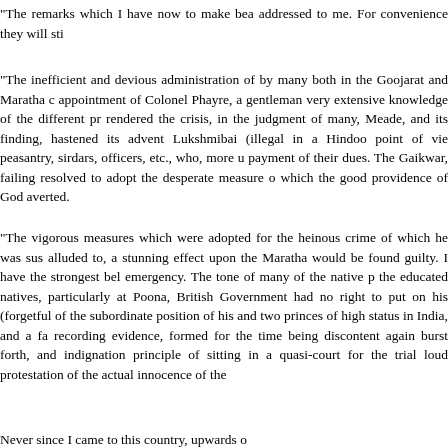“The remarks which I have now to make bea addressed to me. For convenience they will sti
“The inefficient and devious administration o by many both in the Goojarat and Maratha c appointment of Colonel Phayre, a gentleman very extensive knowledge of the different pr rendered the crisis, in the judgment of many, Meade, and its finding, hastened its advent Lukshmibai (illegal in a Hindoo point of vie peasantry, sirdars, officers, etc., who, more u payment of their dues. The Gaikwar, failing resolved to adopt the desperate measure o which the good providence of God averted.
“The vigorous measures which were adopted for the heinous crime of which he was sus alluded to, a stunning effect upon the Marath would be found guilty. I have the strongest bel emergency. The tone of many of the native p the educated natives, particularly at Poona, British Government had no right to put on his (forgetful of the subordinate position of his an two princes of high status in India, and a fa recording evidence, formed for the time being discontent again burst forth, and indignation principle of sitting in a quasi-court for the trial loud protestation of the actual innocence of the
Never since I came to this country, upwards o